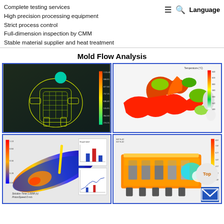Complete testing services
High precision processing equipment
Strict process control
Full-dimension inspection by CMM
Stable material supplier and heat treatment
Mold Flow Analysis
[Figure (engineering-diagram): Mold flow analysis simulation showing a part mesh structure in yellow-green with a teal sphere at top, with a color scale on the right side.]
[Figure (engineering-diagram): Mold flow analysis showing temperature distribution on a runner/part system with red-green-white gradient, Temperature (°C) legend on upper right with scale from 500 to 640.]
[Figure (engineering-diagram): Mold flow simulation showing a cylindrical part cross-section in blue/orange/yellow, Solution Time 1.0058s, PistonSpeed 0 m/s text visible, with small chart insets on the right.]
[Figure (engineering-diagram): Mold flow heat analysis of a large engine-like part in orange/white/teal gradient with color bar legend on upper right, 'Top' button overlay visible.]